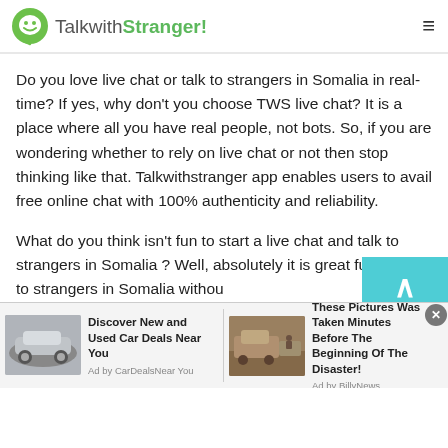TalkwithStranger!
Do you love live chat or talk to strangers in Somalia in real-time? If yes, why don't you choose TWS live chat? It is a place where all you have real people, not bots. So, if you are wondering whether to rely on live chat or not then stop thinking like that. Talkwithstranger app enables users to avail free online chat with 100% authenticity and reliability.
What do you think isn't fun to start a live chat and talk to strangers in Somalia ? Well, absolutely it is great fun to talk to strangers in Somalia withou...
[Figure (screenshot): Two advertisement units at the bottom: 1) Car deal ad - 'Discover New and Used Car Deals Near You' by CarDealsNear You, with car photo. 2) Disaster photo ad - 'These Pictures Was Taken Minutes Before The Beginning Of The Disaster!' by Ad by BillyNews, with truck/flood photo.]